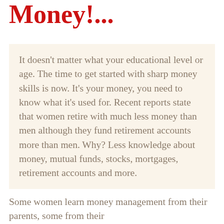Money!...
It doesn't matter what your educational level or age. The time to get started with sharp money skills is now. It's your money, you need to know what it's used for. Recent reports state that women retire with much less money than men although they fund retirement accounts more than men. Why? Less knowledge about money, mutual funds, stocks, mortgages, retirement accounts and more.
Some women learn money management from their parents, some from their